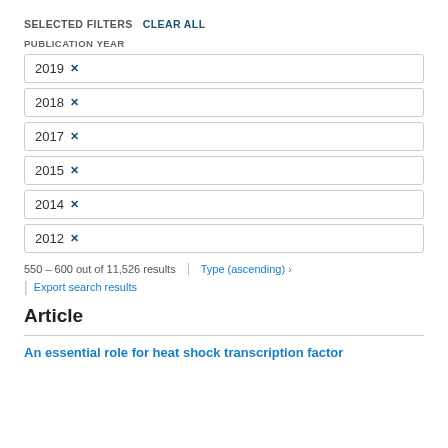SELECTED FILTERS  CLEAR ALL
PUBLICATION YEAR
2019 x
2018 x
2017 x
2015 x
2014 x
2012 x
550 – 600 out of 11,526 results   Type (ascending) ›
Export search results
Article
An essential role for heat shock transcription factor